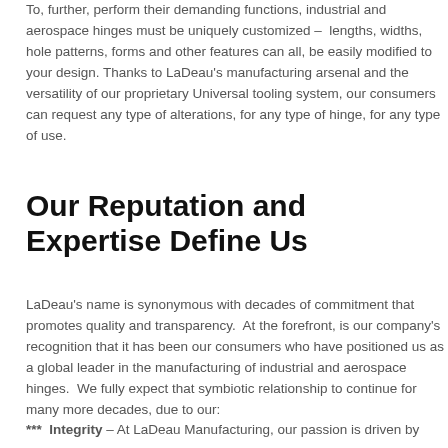To, further, perform their demanding functions, industrial and aerospace hinges must be uniquely customized – lengths, widths, hole patterns, forms and other features can all, be easily modified to your design. Thanks to LaDeau's manufacturing arsenal and the versatility of our proprietary Universal tooling system, our consumers can request any type of alterations, for any type of hinge, for any type of use.
Our Reputation and Expertise Define Us
LaDeau's name is synonymous with decades of commitment that promotes quality and transparency. At the forefront, is our company's recognition that it has been our consumers who have positioned us as a global leader in the manufacturing of industrial and aerospace hinges. We fully expect that symbiotic relationship to continue for many more decades, due to our:
*** Integrity – At LaDeau Manufacturing, our passion is driven by